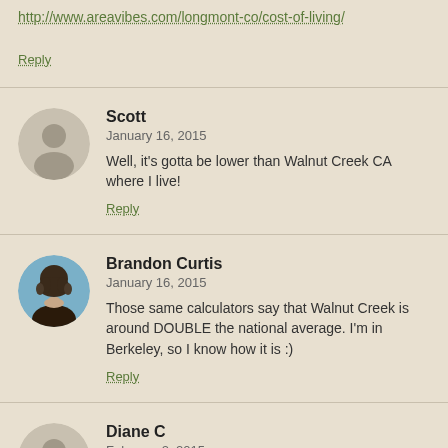http://www.areavibes.com/longmont-co/cost-of-living/
Reply
Scott
January 16, 2015
Well, it's gotta be lower than Walnut Creek CA where I live!
Reply
Brandon Curtis
January 16, 2015
Those same calculators say that Walnut Creek is around DOUBLE the national average. I'm in Berkeley, so I know how it is :)
Reply
Diane C
February 2, 2015